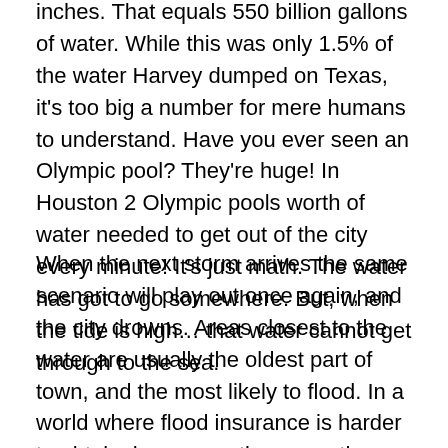inches. That equals 550 billion gallons of water. While this was only 1.5% of the water Harvey dumped on Texas, it's too big a number for mere humans to understand. Have you ever seen an Olympic pool? They're huge! In Houston 2 Olympic pools worth of water needed to get out of the city every minute! It's just math. The water has got to go somewhere. But, when the tide is high… that water cannot get through to the sea.
When the next storm arrives the same scenario will play out once again, and the city drowns. Areas closest to the water are usually the oldest part of town, and the most likely to flood. In a world where flood insurance is harder to obtain, how many times can the homeowners… or the city… afford to rebuild the most frequently flooded areas? Some cities may close neighborhoods rather than fight this losing battle.